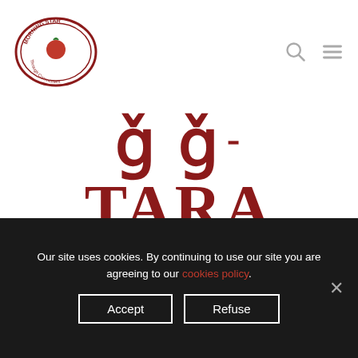[Figure (logo): Morning Star company logo — red oval with tomato illustration and text 'MORNING STAR Excellence Through Commitment']
TARA LOPEZ
[Figure (photo): Portrait photo of a young woman with long wavy brown hair, standing in front of a wooden wall with industrial pipe fittings visible. The wooden structure appears to be part of a food processing facility.]
Our site uses cookies. By continuing to use our site you are agreeing to our cookies policy.
Accept
Refuse